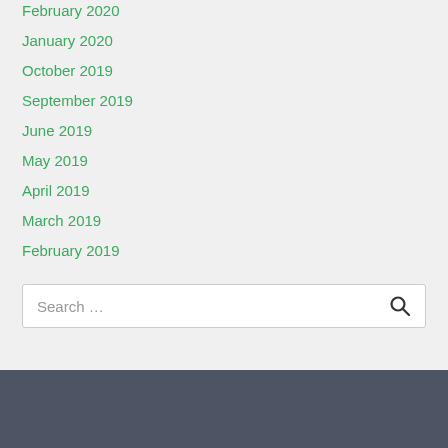February 2020
January 2020
October 2019
September 2019
June 2019
May 2019
April 2019
March 2019
February 2019